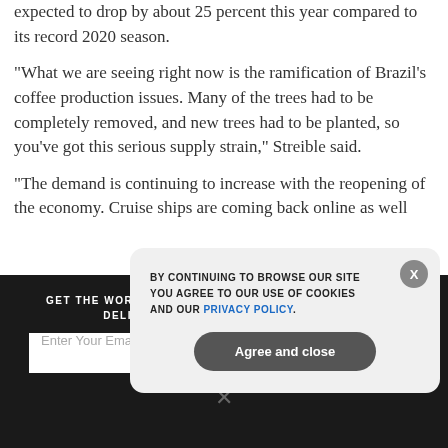expected to drop by about 25 percent this year compared to its record 2020 season.
“What we are seeing right now is the ramification of Brazil’s coffee production issues. Many of the trees had to be completely removed, and new trees had to be planted, so you’ve got this serious supply strain,” Streible said.
“The demand is continuing to increase with the reopening of the economy. Cruise ships are coming back online as well as airlines. There’s gonna be more coffee demand and…
GET THE WORLD'S BEST NATURAL HEALTH NEWSLETTER DELIVERED STRAIGHT TO YOUR INBOX
Enter Your Email Address
SUBSCRIBE
BY CONTINUING TO BROWSE OUR SITE YOU AGREE TO OUR USE OF COOKIES AND OUR PRIVACY POLICY.
Agree and close